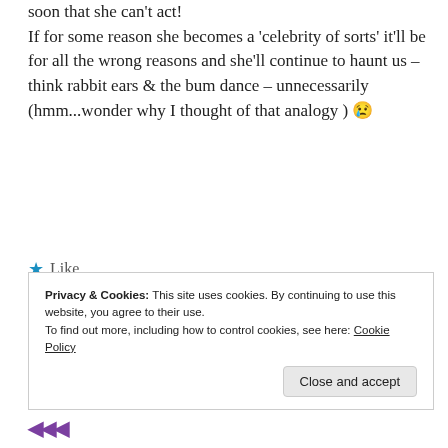soon that she can't act! If for some reason she becomes a 'celebrity of sorts' it'll be for all the wrong reasons and she'll continue to haunt us – think rabbit ears & the bum dance – unnecessarily (hmm...wonder why I thought of that analogy ) 😢
★ Like
Reply
Privacy & Cookies: This site uses cookies. By continuing to use this website, you agree to their use.
To find out more, including how to control cookies, see here: Cookie Policy
Close and accept